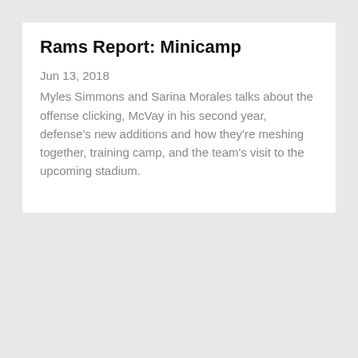Rams Report: Minicamp
Jun 13, 2018
Myles Simmons and Sarina Morales talks about the offense clicking, McVay in his second year, defense's new additions and how they're meshing together, training camp, and the team's visit to the upcoming stadium.